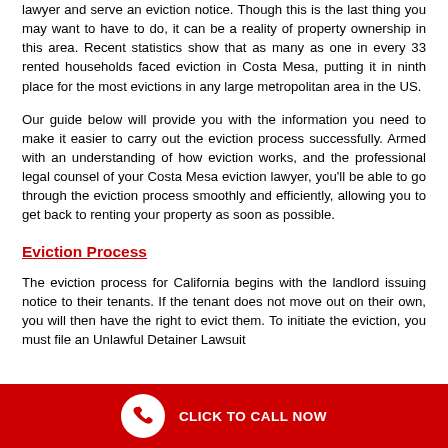lawyer and serve an eviction notice. Though this is the last thing you may want to have to do, it can be a reality of property ownership in this area. Recent statistics show that as many as one in every 33 rented households faced eviction in Costa Mesa, putting it in ninth place for the most evictions in any large metropolitan area in the US.
Our guide below will provide you with the information you need to make it easier to carry out the eviction process successfully. Armed with an understanding of how eviction works, and the professional legal counsel of your Costa Mesa eviction lawyer, you'll be able to go through the eviction process smoothly and efficiently, allowing you to get back to renting your property as soon as possible.
Eviction Process
The eviction process for California begins with the landlord issuing notice to their tenants. If the tenant does not move out on their own, you will then have the right to evict them. To initiate the eviction, you must file an Unlawful Detainer Lawsuit
CLICK TO CALL NOW